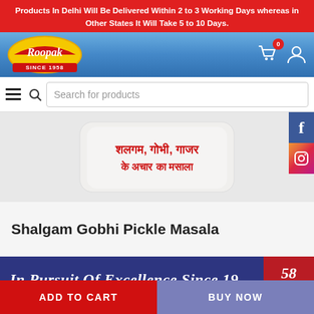Products In Delhi Will Be Delivered Within 2 to 3 Working Days whereas in Other States It Will Take 5 to 10 Days.
[Figure (logo): Roopak brand logo with yellow and red design, text 'Roopak' in script and 'SINCE 1958' below]
[Figure (photo): Product image: white packet bag with Hindi text 'Shalgam Gobhi Gajar ke Achaar ka Masala' in red]
Shalgam Gobhi Pickle Masala
In Pursuit Of Excellence Since 1958
ADD TO CART
BUY NOW